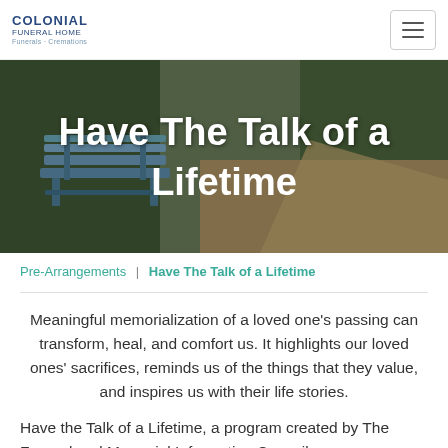COLONIAL FUNERAL HOME | Funerals · Cremations
[Figure (photo): Hero banner image of a park bench and hedged pathway with text overlay reading 'Have The Talk of a Lifetime']
Have The Talk of a Lifetime
Pre-Arrangements | Have The Talk of a Lifetime
Meaningful memorialization of a loved one's passing can transform, heal, and comfort us. It highlights our loved ones' sacrifices, reminds us of the things that they value, and inspires us with their life stories.
Have the Talk of a Lifetime, a program created by The Funeral and Memorial Information Council was